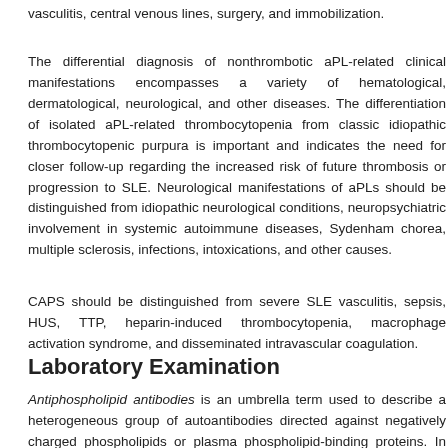vasculitis, central venous lines, surgery, and immobilization.
The differential diagnosis of nonthrombotic aPL-related clinical manifestations encompasses a variety of hematological, dermatological, neurological, and other diseases. The differentiation of isolated aPL-related thrombocytopenia from classic idiopathic thrombocytopenic purpura is important and indicates the need for closer follow-up regarding the increased risk of future thrombosis or progression to SLE. Neurological manifestations of aPLs should be distinguished from idiopathic neurological conditions, neuropsychiatric involvement in systemic autoimmune diseases, Sydenham chorea, multiple sclerosis, infections, intoxications, and other causes.
CAPS should be distinguished from severe SLE vasculitis, sepsis, HUS, TTP, heparin-induced thrombocytopenia, macrophage activation syndrome, and disseminated intravascular coagulation.
Laboratory Examination
Antiphospholipid antibodies is an umbrella term used to describe a heterogeneous group of autoantibodies directed against negatively charged phospholipids or plasma phospholipid-binding proteins. In clinical practice, the most relevant aPLs for identifying patients at risk for immune-mediated thrombosis are aCLs, anti-β 2 GPIs, and LA. In a cohort of 121 childre